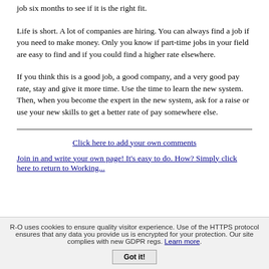job six months to see if it is the right fit.
Life is short. A lot of companies are hiring. You can always find a job if you need to make money. Only you know if part-time jobs in your field are easy to find and if you could find a higher rate elsewhere.
If you think this is a good job, a good company, and a very good pay rate, stay and give it more time. Use the time to learn the new system. Then, when you become the expert in the new system, ask for a raise or use your new skills to get a better rate of pay somewhere else.
Click here to add your own comments
Join in and write your own page! It's easy to do. How? Simply click here to return to Working...
R-O uses cookies to ensure quality visitor experience. Use of the HTTPS protocol ensures that any data you provide us is encrypted for your protection. Our site complies with new GDPR regs. Learn more.